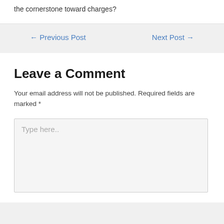the cornerstone toward charges?
← Previous Post
Next Post →
Leave a Comment
Your email address will not be published. Required fields are marked *
Type here..